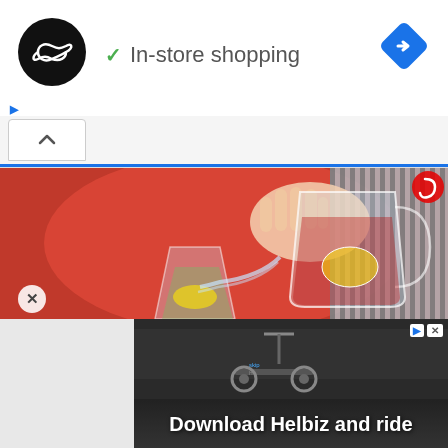[Figure (screenshot): Mobile browser UI showing top navigation bar with black circular logo with infinity symbol, checkmark and 'In-store shopping' text, blue diamond navigation icon top right, small ad icons (play triangle and X), a browser address bar with caret/up arrow button and blue bottom border]
[Figure (photo): Photo of a person in a red top and striped sleeve pouring liquid from a large clear glass pitcher into a glass with lemon slices and ice. Red/cranberry drink being poured outdoors.]
[Figure (screenshot): Advertisement banner showing scooter image with text 'Download Helbiz and ride' in white bold text on dark background, with small ad icons (play and X) in top right corner]